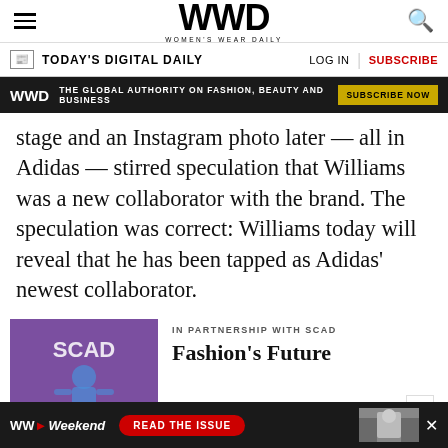WWD — WOMEN'S WEAR DAILY
TODAY'S DIGITAL DAILY   LOG IN   SUBSCRIBE
[Figure (infographic): WWD dark banner ad: THE GLOBAL AUTHORITY ON FASHION, BEAUTY AND BUSINESS — SUBSCRIBE NOW]
stage and an Instagram photo later — all in Adidas — stirred speculation that Williams was a new collaborator with the brand. The speculation was correct: Williams today will reveal that he has been tapped as Adidas' newest collaborator.
[Figure (photo): Person on stage in front of SCAD purple backdrop]
IN PARTNERSHIP WITH SCAD
Fashion's Future
[Figure (infographic): WWD Weekend bottom ad banner: READ THE ISSUE with fashion photo]